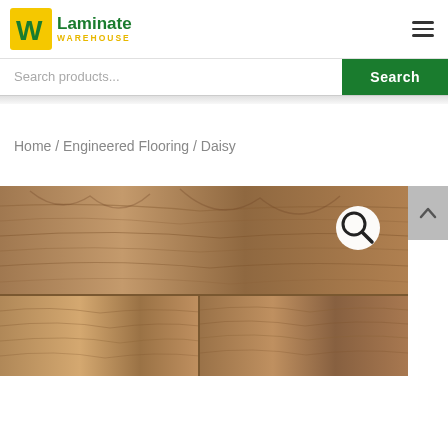[Figure (logo): Laminate Warehouse logo with yellow icon on left and green/yellow text]
Search products...
Search
Home / Engineered Flooring / Daisy
[Figure (photo): Close-up photo of brown/tan wood grain engineered flooring planks with staggered joints, with a magnifying glass icon overlay in top right]